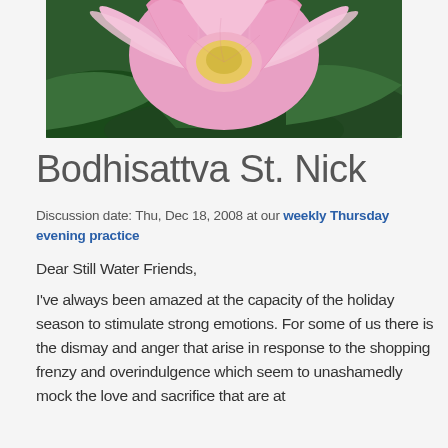[Figure (photo): Close-up photograph of a pink lotus flower with green leaves visible in the background]
Bodhisattva St. Nick
Discussion date: Thu, Dec 18, 2008 at our weekly Thursday evening practice
Dear Still Water Friends,
I've always been amazed at the capacity of the holiday season to stimulate strong emotions. For some of us there is the dismay and anger that arise in response to the shopping frenzy and overindulgence which seem to unashamedly mock the love and sacrifice that are at